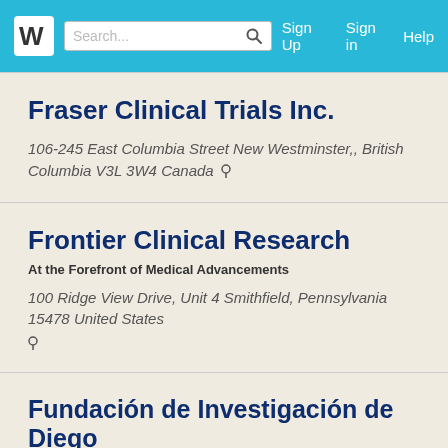Search... Sign Up Sign in Help
Fraser Clinical Trials Inc.
106-245 East Columbia Street New Westminster,, British Columbia V3L 3W4 Canada
Frontier Clinical Research
At the Forefront of Medical Advancements
100 Ridge View Drive, Unit 4 Smithfield, Pennsylvania 15478 United States
Fundación de Investigación de Diego
998 Luis Munoz Rivera Avenue San Juan, Puerto Rico 00927 United States